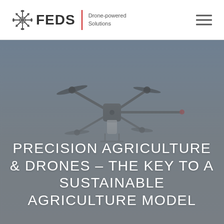FEDS | Drone-powered Solutions
[Figure (photo): Aerial drone (quadcopter with spray equipment) photographed from below against a grey-blue sky. The drone has four propeller arms, a central body with a white cylindrical tank, and a long horizontal spray boom extending to the right.]
PRECISION AGRICULTURE & DRONES – THE KEY TO A SUSTAINABLE AGRICULTURE MODEL